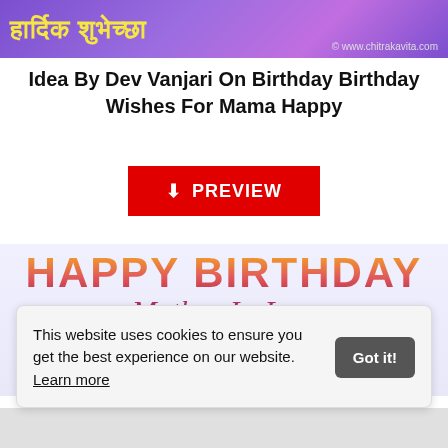[Figure (illustration): Purple gradient banner with Marathi text 'हार्दिक शुभेच्छा' in yellow and copyright text '© www.chitrakavita.com']
Idea By Dev Vanjari On Birthday Birthday Wishes For Mama Happy
[Figure (screenshot): Red PREVIEW button with download icon]
[Figure (illustration): Happy Birthday Mother-In-Law greeting card image with decorative orange/red block letters 'HAPPY BIRTHDAY' and cursive 'Mother-In-Law' and text 'You are so very Caring And Kind']
This website uses cookies to ensure you get the best experience on our website. Learn more
Got it!